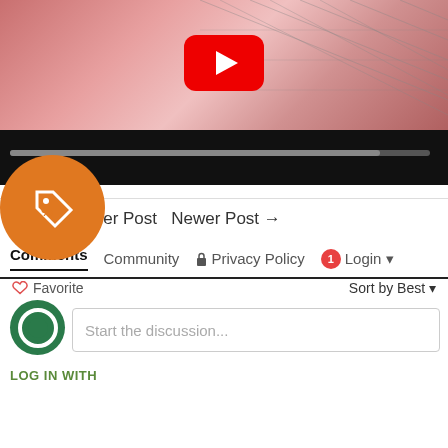[Figure (screenshot): YouTube video player showing a pink/red background thumbnail with a YouTube play button and video controls bar below]
[Figure (other): Orange circular discount/tag badge icon on the left side]
← Older Post Newer Post →
Comments  Community  🔒 Privacy Policy  1  Login ▾
♡ Favorite  Sort by Best ▾
[Figure (other): Green circular Disqus avatar/logo]
Start the discussion...
LOG IN WITH